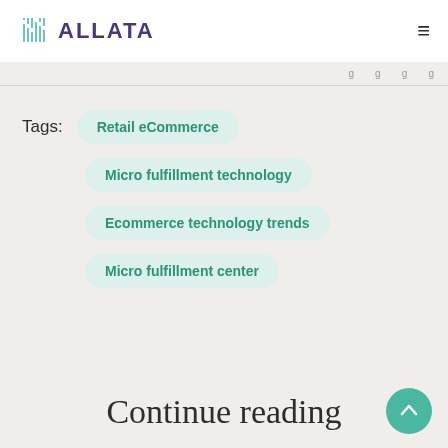ALLATA
Retail eCommerce
Micro fulfillment technology
Ecommerce technology trends
Micro fulfillment center
Continue reading